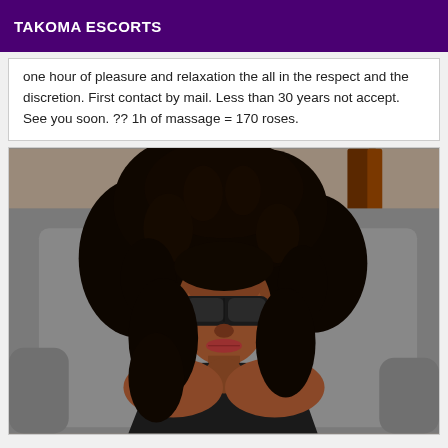TAKOMA ESCORTS
one hour of pleasure and relaxation the all in the respect and the discretion. First contact by mail. Less than 30 years not accept. See you soon. ?? 1h of massage = 170 roses.
[Figure (photo): Woman with curly hair wearing sunglasses and black leather top, seated in a chair]